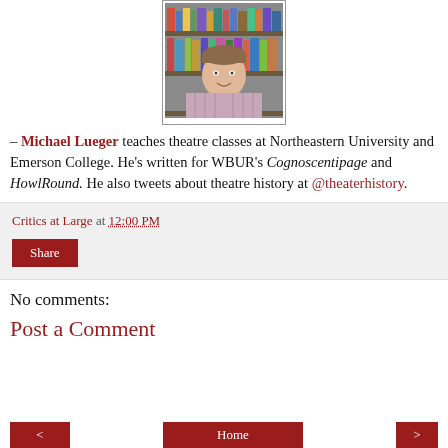[Figure (photo): Headshot of Michael Lueger, a man in a striped shirt standing in front of bookshelves]
– Michael Lueger teaches theatre classes at Northeastern University and Emerson College. He's written for WBUR's Cognoscentipage and HowlRound. He also tweets about theatre history at @theaterhistory.
Critics at Large at 12:00 PM
Share
No comments:
Post a Comment